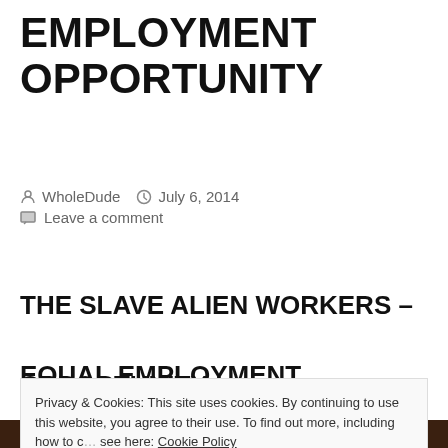EMPLOYMENT OPPORTUNITY
WholeDude   July 6, 2014   Leave a comment
THE SLAVE ALIEN WORKERS – EQUAL EMPLOYMENT OPPORTUNITY:
Privacy & Cookies: This site uses cookies. By continuing to use this website, you agree to their use. To find out more, including how to control cookies, see here: Cookie Policy
[Figure (photo): Dark image strip at bottom of page, partially visible]